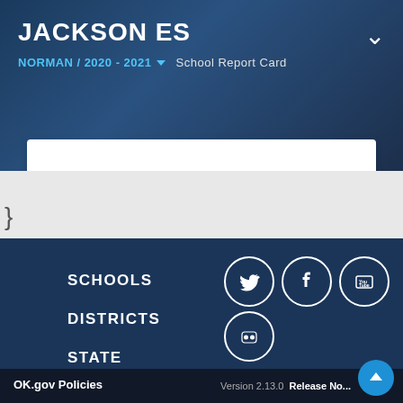JACKSON ES
NORMAN / 2020 - 2021 ▾ School Report Card
SCHOOLS
DISTRICTS
STATE
[Figure (illustration): Social media icons: Twitter, Facebook, YouTube, Flickr — white circles with icons on dark navy background]
OK.gov Policies  Version 2.13.0  Release No...